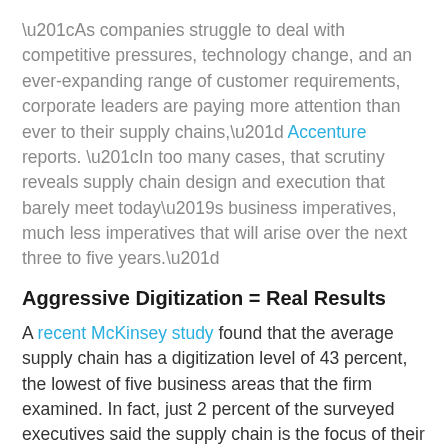“As companies struggle to deal with competitive pressures, technology change, and an ever-expanding range of customer requirements, corporate leaders are paying more attention than ever to their supply chains,” Accenture reports. “In too many cases, that scrutiny reveals supply chain design and execution that barely meet today’s business imperatives, much less imperatives that will arise over the next three to five years.”
Aggressive Digitization = Real Results
A recent McKinsey study found that the average supply chain has a digitization level of 43 percent, the lowest of five business areas that the firm examined. In fact, just 2 percent of the surveyed executives said the supply chain is the focus of their digital strategies. The same McKinsey research found that those companies that aggressively digitize their supply chains can